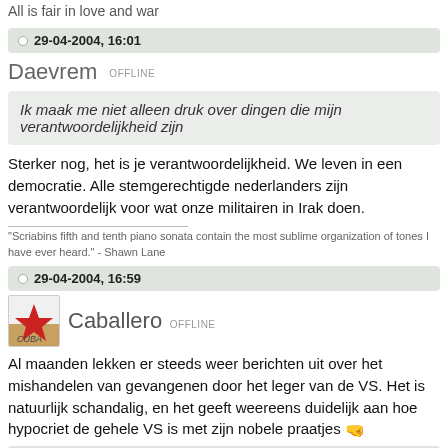All is fair in love and war
29-04-2004, 16:01
Daevrem OFFLINE
Ik maak me niet alleen druk over dingen die mijn verantwoordelijkheid zijn
Sterker nog, het is je verantwoordelijkheid. We leven in een democratie. Alle stemgerechtigde nederlanders zijn verantwoordelijk voor wat onze militairen in Irak doen.
"Scriabins fifth and tenth piano sonata contain the most sublime organization of tones I have ever heard." - Shawn Lane
29-04-2004, 16:59
Caballero OFFLINE
Al maanden lekken er steeds weer berichten uit over het mishandelen van gevangenen door het leger van de VS. Het is natuurlijk schandalig, en het geeft weereens duidelijk aan hoe hypocriet de gehele VS is met zijn nobele praatjes
29-04-2004, 17:04